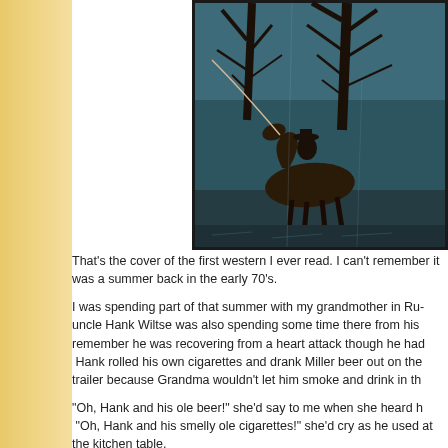[Figure (illustration): Painting of a cowboy on horseback beneath bare winter trees against a blue-green background, appearing to be a western novel cover.]
That's the cover of the first western I ever read.  I can't remember it was a summer back in the early 70's.
I was spending part of that summer with my grandmother in Ru uncle Hank Wiltse was also spending some time there from his remember he was recovering from a heart attack though he had Hank rolled his own cigarettes and drank Miller beer out on the trailer because Grandma wouldn't let him smoke and drink in th
"Oh, Hank and his ole beer!" she'd say to me when she heard h "Oh, Hank and his smelly ole cigarettes!" she'd cry as he used at the kitchen table.